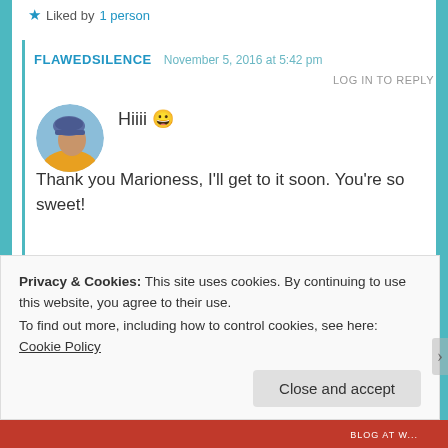★ Liked by 1 person
FLAWEDSILENCE   November 5, 2016 at 5:42 pm
LOG IN TO REPLY
[Figure (photo): Circular avatar photo of a person wearing a blue/purple beanie hat and yellow jacket, side profile view]
Hiiii 😀
Thank you Marioness, I'll get to it soon. You're so sweet!
★ Liked by 1 person
Privacy & Cookies: This site uses cookies. By continuing to use this website, you agree to their use.
To find out more, including how to control cookies, see here: Cookie Policy
Close and accept